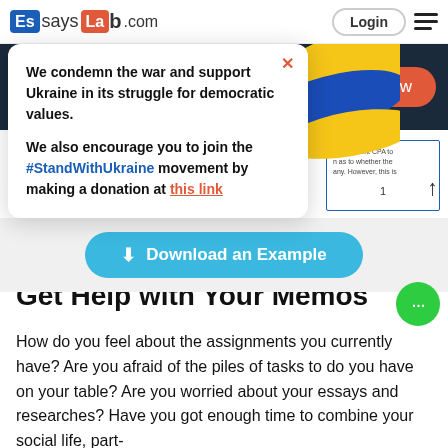EssaysLab.com — Login
[Figure (screenshot): Website popup with Ukraine support message over dark navbar with Order now button]
We condemn the war and support Ukraine in its struggle for democratic values.

We also encourage you to join the #StandWithUkraine movement by making a donation at this link
Get Help with Your Memos
How do you feel about the assignments you currently have? Are you afraid of the piles of tasks to do you have on your table? Are you worried about your essays and researches? Have you got enough time to combine your social life, part-